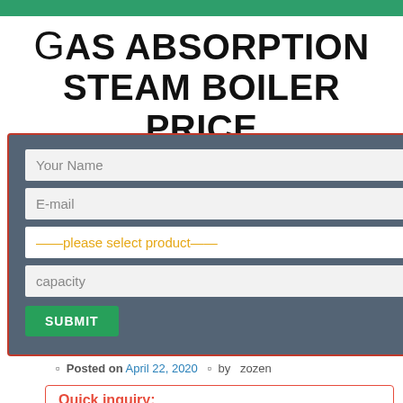Gas Absorption Steam Boiler Price in Pakistan
[Figure (screenshot): Modal popup form with fields: Your Name, E-mail, please select product dropdown, capacity, and SUBMIT button. Background shows green search bar with magnifier icon and partial text 'red boiler'.]
lc boiler boiler fuel oil
Posted on April 22, 2020  by  zozen
Quick inquiry: